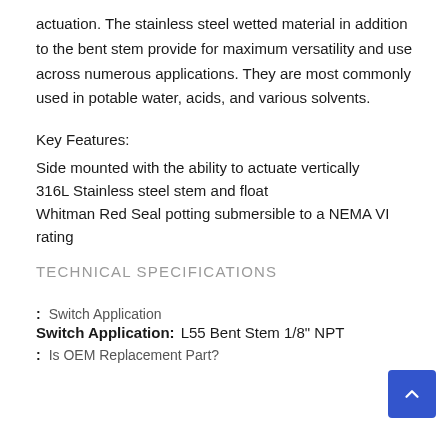actuation. The stainless steel wetted material in addition to the bent stem provide for maximum versatility and use across numerous applications. They are most commonly used in potable water, acids, and various solvents.
Key Features:
Side mounted with the ability to actuate vertically
316L Stainless steel stem and float
Whitman Red Seal potting submersible to a NEMA VI rating
TECHNICAL SPECIFICATIONS
: Switch Application
Switch Application: L55 Bent Stem 1/8" NPT
: Is OEM Replacement Part?